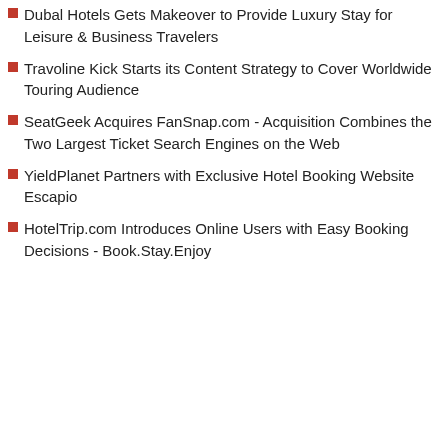Dubal Hotels Gets Makeover to Provide Luxury Stay for Leisure & Business Travelers
Travoline Kick Starts its Content Strategy to Cover Worldwide Touring Audience
SeatGeek Acquires FanSnap.com - Acquisition Combines the Two Largest Ticket Search Engines on the Web
YieldPlanet Partners with Exclusive Hotel Booking Website Escapio
HotelTrip.com Introduces Online Users with Easy Booking Decisions - Book.Stay.Enjoy